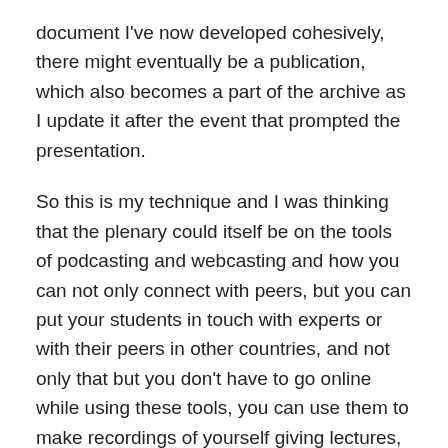document I've now developed cohesively, there might eventually be a publication, which also becomes a part of the archive as I update it after the event that prompted the presentation.
So this is my technique and I was thinking that the plenary could itself be on the tools of podcasting and webcasting and how you can not only connect with peers, but you can put your students in touch with experts or with their peers in other countries, and not only that but you don't have to go online while using these tools, you can use them to make recordings of yourself giving lectures, include screen shares, graphics, animations, web tours etc in the presentation and put that online as the first part of the flip, which you tell students to review before you meet them in class (and to do that you need to have a space where you